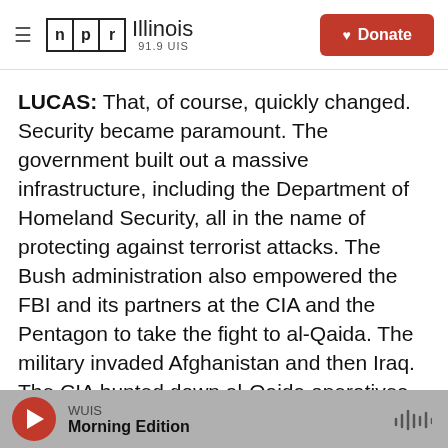NPR Illinois 91.9 UIS | Donate
LUCAS: That, of course, quickly changed. Security became paramount. The government built out a massive infrastructure, including the Department of Homeland Security, all in the name of protecting against terrorist attacks. The Bush administration also empowered the FBI and its partners at the CIA and the Pentagon to take the fight to al-Qaida. The military invaded Afghanistan and then Iraq. The CIA hunted down al-Qaida operatives around the world, many of whom were tortured in secret prisons. On the home front, FBI Director Robert Mueller shifted some 2,000 agents to
WUIS
Morning Edition